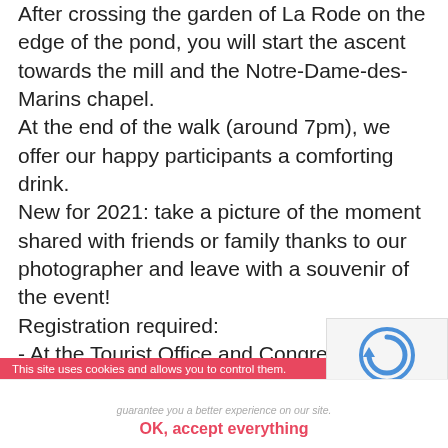After crossing the garden of La Rode on the edge of the pond, you will start the ascent towards the mill and the Notre-Dame-des-Marins chapel. At the end of the walk (around 7pm), we offer our happy participants a comforting drink. New for 2021: take a picture of the moment shared with friends or family thanks to our photographer and leave with a souvenir of the event!
Registration required:
- At the Tourist Office and Congresses: Rond-point de l'Hôtel de Ville,
- Online at www.martigues-tourisme.com
Bring good walking shoes (no city shoes or heels), warm and comfortable clothing, water and a torch or headlamp.
[Figure (other): reCAPTCHA widget with circular arrow icon and Privacy/Terms links]
This site uses cookies and allows you to control them. use of cookies or other tracers, allows us to realize statistics of visits and to guarantee you a better experience on our site.
OK, accept everything